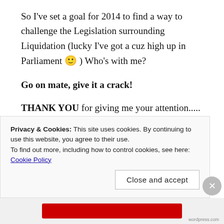So I've set a goal for 2014 to find a way to challenge the Legislation surrounding Liquidation (lucky I've got a cuz high up in Parliament 🙂 ) Who's with me?
Go on mate, give it a crack!
THANK YOU for giving me your attention..... THANK YOU for taking the time to read my
Privacy & Cookies: This site uses cookies. By continuing to use this website, you agree to their use. To find out more, including how to control cookies, see here: Cookie Policy
Close and accept